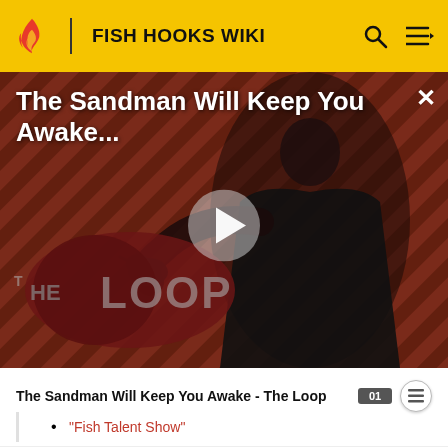FISH HOOKS WIKI
[Figure (screenshot): Video thumbnail for 'The Sandman Will Keep You Awake' featuring a dark-cloaked figure against a red diagonal striped background with 'THE LOOP' branding and a play button overlay.]
The Sandman Will Keep You Awake - The Loop
"Fish Talent Show"
References